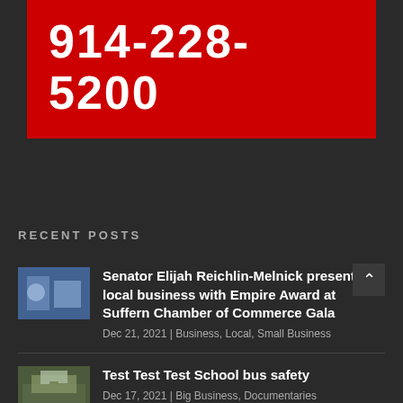914-228-5200
RECENT POSTS
[Figure (photo): Thumbnail image of Senator Elijah Reichlin-Melnick event]
Senator Elijah Reichlin-Melnick presents local business with Empire Award at Suffern Chamber of Commerce Gala
Dec 21, 2021 | Business, Local, Small Business
[Figure (photo): Thumbnail image of a building/school for Test Test Test School bus safety post]
Test Test Test School bus safety
Dec 17, 2021 | Big Business, Documentaries